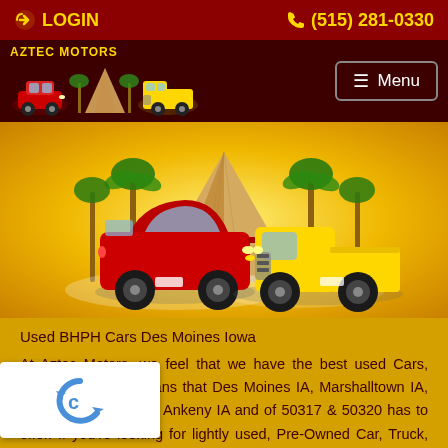LOGIN  (515) 281-0330
[Figure (screenshot): Aztec Motors logo with cars and pyramid, navigation menu button]
[Figure (illustration): Hero image showing red car and yellow truck in front of Aztec pyramid with palm trees on golden background]
Used BHPH Cars Des Moines Iowa
At Aztec Motors, we feel that we have the best used Cars, Trucks, SUVs and Vans that Des Moines IA, Marshalltown IA, West Des Moines IA, Ankeny IA and of 50317 & 50320 has to offer. If you're looking for lightly used, Pre-Owned Car, Truck, SUV or Van